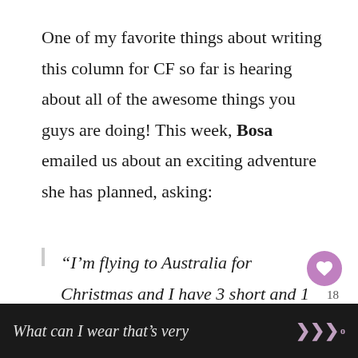One of my favorite things about writing this column for CF so far is hearing about all of the awesome things you guys are doing! This week, Bosa emailed us about an exciting adventure she has planned, asking:
“I’m flying to Australia for Christmas and I have 3 short and 1 long haul flights to sit through.
What can I wear that’s very
What can I wear that’s very